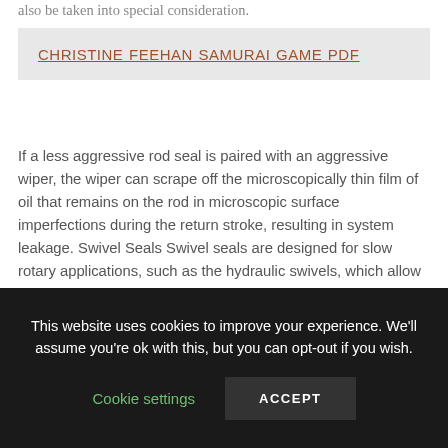also be taken into special consideration.
CHRISTINE FEEHAN SAMURAI GAME PDF
If a less aggressive rod seal is paired with an aggressive wiper, the wiper can scrape off the microscopically thin film of oil that remains on the rod in microscopic surface imperfections during the return stroke, resulting in system leakage. Swivel Seals Swivel seals are designed for slow rotary applications, such as the hydraulic swivels, which allow the transmission of pressurised services between the chassis and body of mobile hydraulic equipment.
This website uses cookies to improve your experience. We'll assume you're ok with this, but you can opt-out if you wish.
Cookie settings
ACCEPT